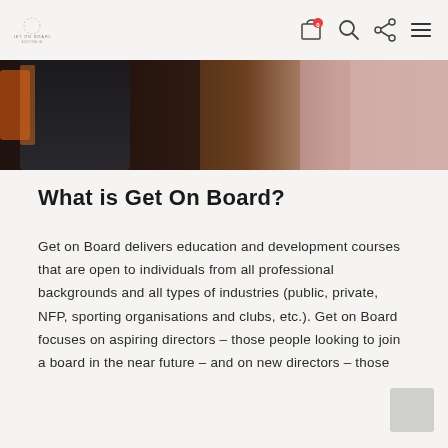GET ON BOARD
[Figure (photo): Close-up photo of a boardroom chair in dark leather with blurred warm-toned background.]
What is Get On Board?
Get on Board delivers education and development courses that are open to individuals from all professional backgrounds and all types of industries (public, private, NFP, sporting organisations and clubs, etc.). Get on Board focuses on aspiring directors – those people looking to join a board in the near future – and on new directors – those